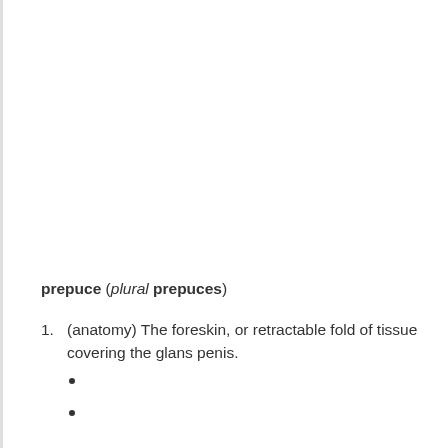prepuce (plural prepuces)
1. (anatomy) The foreskin, or retractable fold of tissue covering the glans penis.
•
•